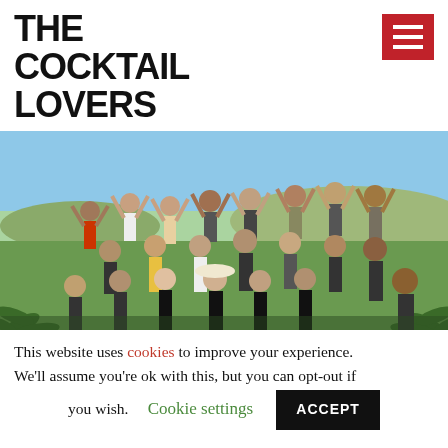THE COCKTAIL LOVERS
[Figure (photo): Group photo of approximately 20 people outdoors in an agave field, raising their hands and celebrating, with blue sky and hills in the background.]
Top tips for entering Patrón
This website uses cookies to improve your experience. We'll assume you're ok with this, but you can opt-out if you wish. Cookie settings ACCEPT